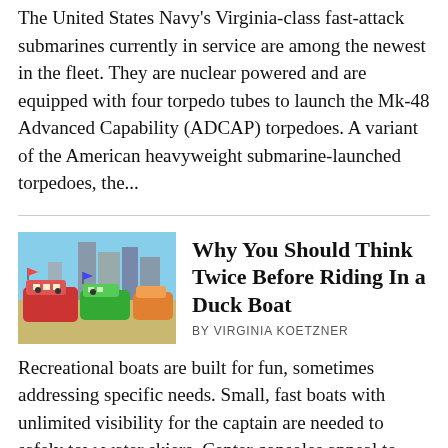The United States Navy's Virginia-class fast-attack submarines currently in service are among the newest in the fleet. They are nuclear powered and are equipped with four torpedo tubes to launch the Mk-48 Advanced Capability (ADCAP) torpedoes. A variant of the American heavyweight submarine-launched torpedoes, the...
Why You Should Think Twice Before Riding In a Duck Boat
BY VIRGINIA KOETZNER
[Figure (photo): Colorful duck boats parked in a city area with buildings in background]
Recreational boats are built for fun, sometimes addressing specific needs. Small, fast boats with unlimited visibility for the captain are needed to safely tow water skiers. Center consoles appeal to fishermen with space allocations that work well with several fishing at one time and a...
[Figure (photo): Partial thumbnail image at bottom of page]